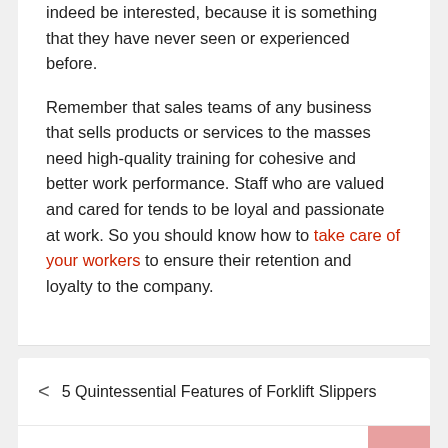indeed be interested, because it is something that they have never seen or experienced before.
Remember that sales teams of any business that sells products or services to the masses need high-quality training for cohesive and better work performance. Staff who are valued and cared for tends to be loyal and passionate at work. So you should know how to take care of your workers to ensure their retention and loyalty to the company.
< 5 Quintessential Features of Forklift Slippers
Top Perks of Investing in Premium Quality Earphones >
Leave Reply